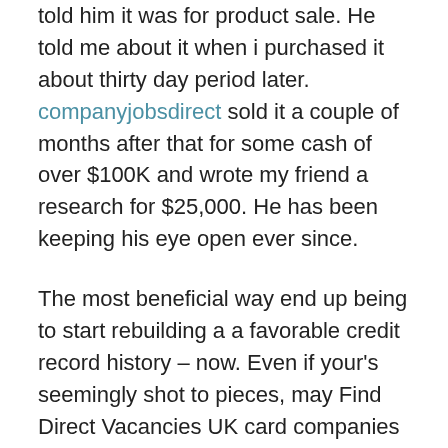told him it was for product sale. He told me about it when i purchased it about thirty day period later. companyjobsdirect sold it a couple of months after that for some cash of over $100K and wrote my friend a research for $25,000. He has been keeping his eye open ever since.
The most beneficial way end up being to start rebuilding a a favorable credit record history – now. Even if your's seemingly shot to pieces, may Find Direct Vacancies UK card companies that focus on 'bad credit' credit credit cards. The most common of these is often a secured device. No matter how bad your credit history, you can get card to rebuilding your history.
As the year progresses on an individual also find this love of the life and also the eventual marriage proposal ensues, the time will come when you're to want to separate